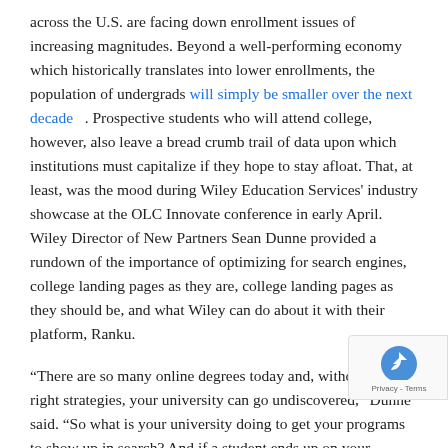across the U.S. are facing down enrollment issues of increasing magnitudes. Beyond a well-performing economy which historically translates into lower enrollments, the population of undergrads will simply be smaller over the next decade . Prospective students who will attend college, however, also leave a bread crumb trail of data upon which institutions must capitalize if they hope to stay afloat. That, at least, was the mood during Wiley Education Services' industry showcase at the OLC Innovate conference in early April. Wiley Director of New Partners Sean Dunne provided a rundown of the importance of optimizing for search engines, college landing pages as they are, college landing pages as they should be, and what Wiley can do about it with their platform, Ranku.
“There are so many online degrees today and, without the right strategies, your university can go undiscovered,” Dunne said. “So what is your university doing to get your programs to show up in search? And if a student ends up on your program p more importantly, what strategies do you have in place to those students to hang out, to gather information they ca looking for?”